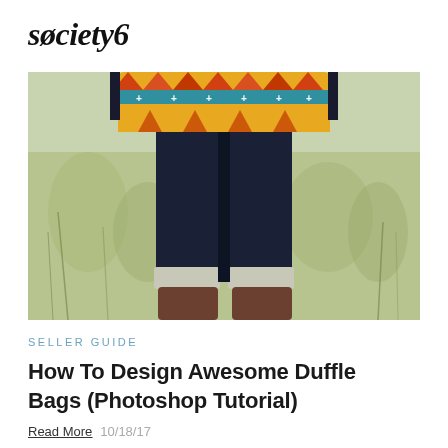society6
[Figure (photo): Person standing in a grassy field wearing dark jeans with cuffed hems and brown boots, holding a colorful aztec/tribal patterned duffle bag over their shoulder. Only the lower body is visible.]
SELLER GUIDE
How To Design Awesome Duffle Bags (Photoshop Tutorial)
Read More  10/18/17